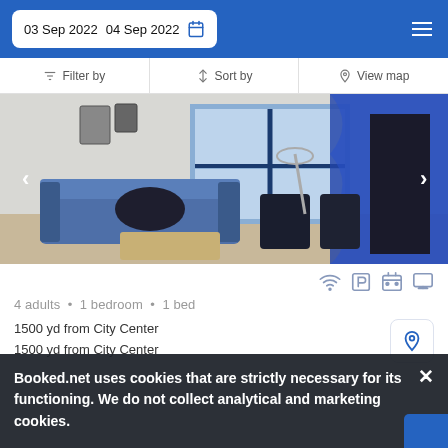03 Sep 2022  04 Sep 2022
Filter by  |  Sort by  |  View map
[Figure (photo): Interior photo of an apartment living area with a blue sofa, dark curtains, window with blue frame, and chairs around a dining table.]
4 adults  •  1 bedroom  •  1 bed
1500 yd from City Center
1500 yd from City Center
Booked.net uses cookies that are strictly necessary for its functioning. We do not collect analytical and marketing cookies.